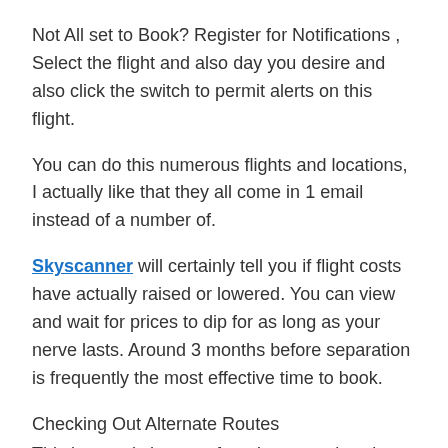Not All set to Book? Register for Notifications , Select the flight and also day you desire and also click the switch to permit alerts on this flight.
You can do this numerous flights and locations, I actually like that they all come in 1 email instead of a number of.
Skyscanner will certainly tell you if flight costs have actually raised or lowered. You can view and wait for prices to dip for as long as your nerve lasts. Around 3 months before separation is frequently the most effective time to book.
Checking Out Alternate Routes
This is exactly how we found an actual saving on those Sri Lanka flights. The expense was looking too high so we discovered alternate routes.
First, locate which courses OUT of your location are the most